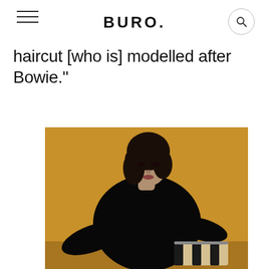BURO.
haircut [who is] modelled after Bowie."
[Figure (photo): Fashion photo of a female model with a short dark bob haircut, wearing a black sequined long-sleeve outfit, posing against a golden/mustard yellow background, holding a striped black and cream clutch bag]